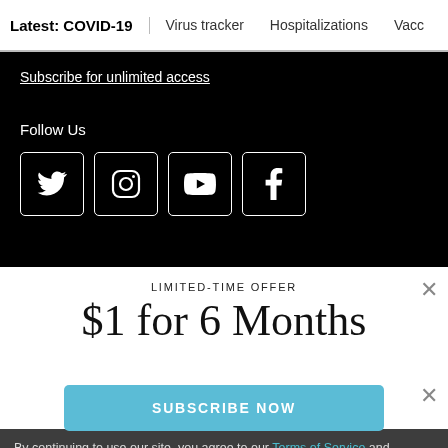Latest: COVID-19 | Virus tracker | Hospitalizations | Vacc
Subscribe for unlimited access
Follow Us
[Figure (illustration): Social media icons: Twitter, Instagram, YouTube, Facebook in white bordered squares on black background]
LIMITED-TIME OFFER
$1 for 6 Months
SUBSCRIBE NOW
By continuing to use our site, you agree to our Terms of Service and Privacy Policy. You can learn more about how we use cookies by reviewing our Privacy Policy.  Close